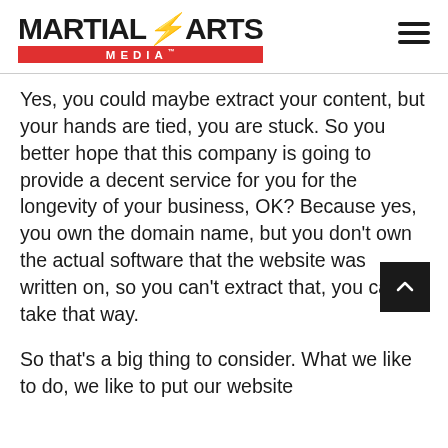Martial Arts Media™
Yes, you could maybe extract your content, but your hands are tied, you are stuck. So you better hope that this company is going to provide a decent service for you for the longevity of your business, OK? Because yes, you own the domain name, but you don't own the actual software that the website was written on, so you can't extract that, you can't take that way.
So that's a big thing to consider. What we like to do, we like to put our website